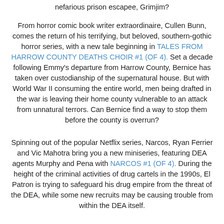nefarious prison escapee, Grimjim?
From horror comic book writer extraordinaire, Cullen Bunn, comes the return of his terrifying, but beloved, southern-gothic horror series, with a new tale beginning in TALES FROM HARROW COUNTY DEATHS CHOIR #1 (OF 4). Set a decade following Emmy's departure from Harrow County, Bernice has taken over custodianship of the supernatural house. But with World War II consuming the entire world, men being drafted in the war is leaving their home county vulnerable to an attack from unnatural terrors. Can Bernice find a way to stop them before the county is overrun?
Spinning out of the popular Netflix series, Narcos, Ryan Ferrier and Vic Mahotra bring you a new miniseries, featuring DEA agents Murphy and Pena with NARCOS #1 (OF 4). During the height of the criminal activities of drug cartels in the 1990s, El Patron is trying to safeguard his drug empire from the threat of the DEA, while some new recruits may be causing trouble from within the DEA itself.
Based on the popular video game, 2064: Read Only